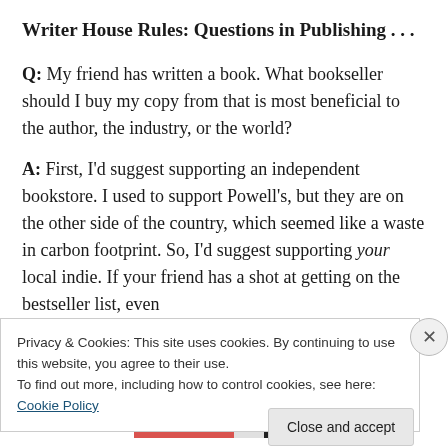Writer House Rules: Questions in Publishing . . .
Q: My friend has written a book. What bookseller should I buy my copy from that is most beneficial to the author, the industry, or the world?
A: First, I'd suggest supporting an independent bookstore. I used to support Powell's, but they are on the other side of the country, which seemed like a waste in carbon footprint. So, I'd suggest supporting your local indie. If your friend has a shot at getting on the bestseller list, even a regional one, you may want to call ahead and ask the
Privacy & Cookies: This site uses cookies. By continuing to use this website, you agree to their use. To find out more, including how to control cookies, see here: Cookie Policy
Close and accept